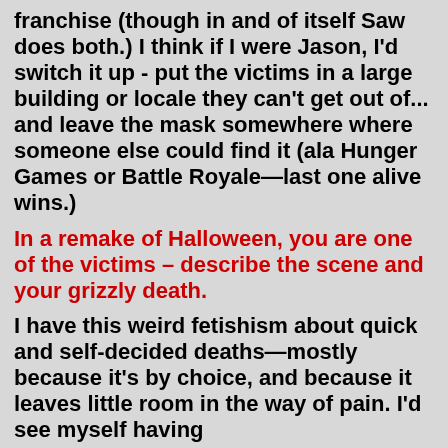franchise (though in and of itself Saw does both.) I think if I were Jason, I'd switch it up - put the victims in a large building or locale they can't get out of... and leave the mask somewhere where someone else could find it (ala Hunger Games or Battle Royale—last one alive wins.)
In a remake of Halloween, you are one of the victims – describe the scene and your grizzly death.
I have this weird fetishism about quick and self-decided deaths—mostly because it's by choice, and because it leaves little room in the way of pain. I'd see myself having